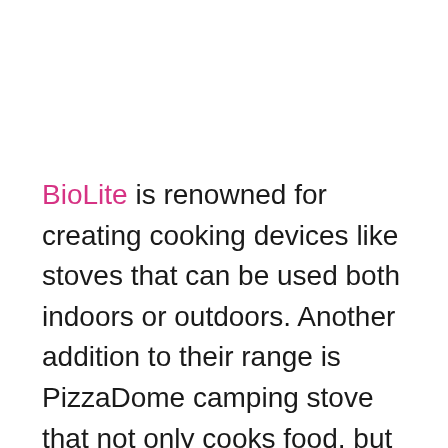BioLite is renowned for creating cooking devices like stoves that can be used both indoors or outdoors. Another addition to their range is PizzaDome camping stove that not only cooks food, but also charges your phone by burning wood.
On igniting, the portable camp stove can be used to cook pizzas, flat breads as well as other food products. It comes with an integrated thermometer that monitors temperature of pizza while cooking